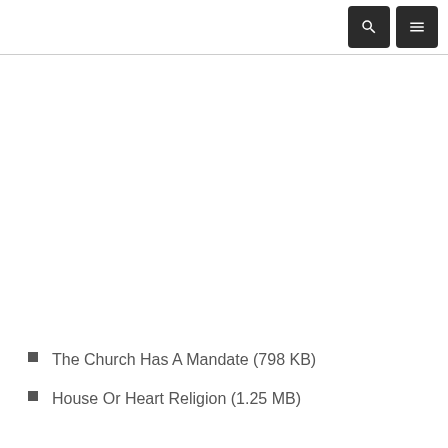[search icon] [menu icon]
The Church Has A Mandate (798 KB)
House Or Heart Religion (1.25 MB)